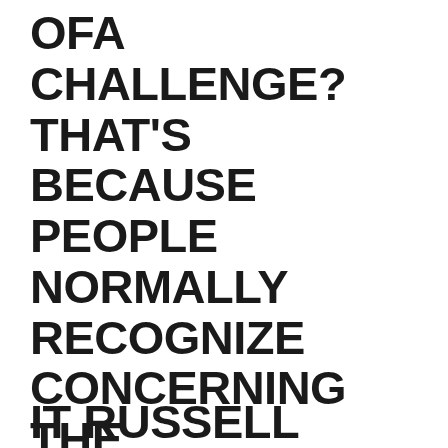OFA CHALLENGE? THAT'S BECAUSE PEOPLE NORMALLY RECOGNIZE CONCERNING THE OFA CHALLENGE VIA BLOG SITE POSTS WITH ASSOCIATE WEB LINKS.
IT RUSSELL